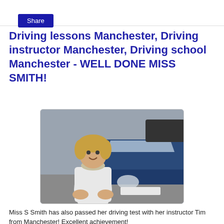Share
Driving lessons Manchester, Driving instructor Manchester, Driving school Manchester - WELL DONE MISS SMITH!
[Figure (photo): Young woman with curly blonde hair wearing a white puffer jacket, standing in front of a blue hatchback car in a car park. She is smiling at the camera.]
Miss S Smith has also passed her driving test with her instructor Tim from Manchester! Excellent achievement!